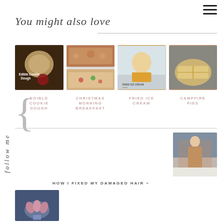≡
You might also love
[Figure (photo): Four food photos in a row: Edible Cookie Dough, Christmas Morning Breakfast (collage), Fried Ice Cream, Campfire Pies]
EDIBLE COOKIE DOUGH
CHRISTMAS MORNING BREAKFAST
FRIED ICE CREAM
CAMPFIRE PIES
follow me
[Figure (photo): Person standing outside in winter coat in snow]
HOW I FIXED MY DAMAGED HAIR »
[Figure (photo): Close-up of nails/hands photo]